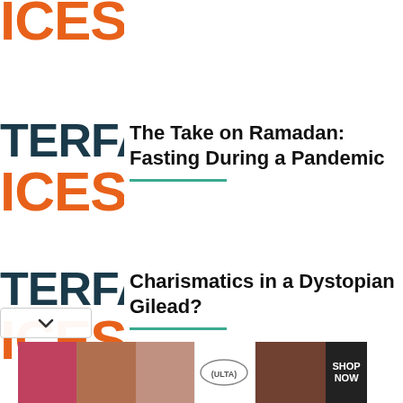Bridges Made of Music
[Figure (logo): INTERFACES logo: TERFA in dark teal, ICES in orange, partial/cropped]
The Take on Ramadan: Fasting During a Pandemic
[Figure (logo): INTERFACES logo: TERFA in dark teal, ICES in orange]
Charismatics in a Dystopian Gilead?
[Figure (logo): INTERFACES logo: TERFA in dark teal, ICES in orange, partially visible]
[Figure (photo): Ulta Beauty advertisement banner showing makeup/beauty photos with SHOP NOW text]